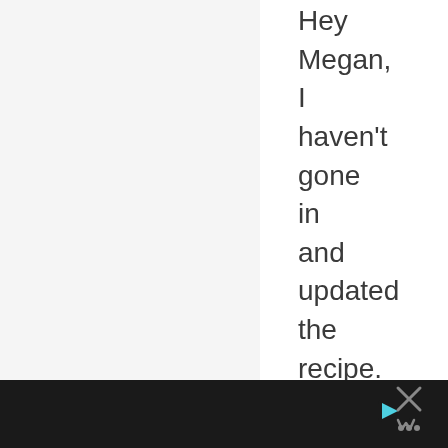Hey Megan, I haven't gone in and updated the recipe. The last time it
[Figure (other): Dark footer bar with a play button icon on left side and a close/X button with a small logo icon on the right side]